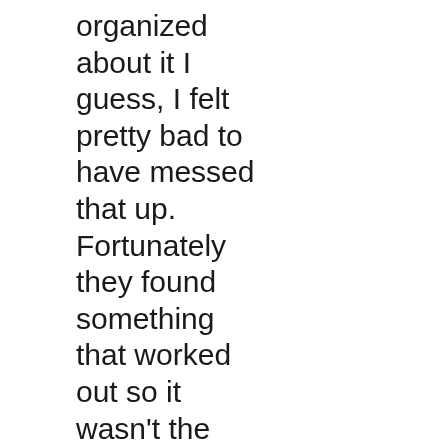organized about it I guess, I felt pretty bad to have messed that up. Fortunately they found something that worked out so it wasn't the end of the world, but I should have screwed that